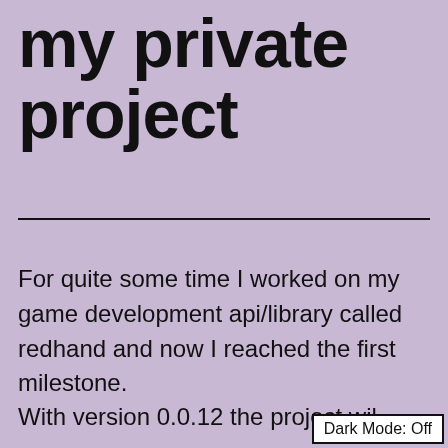my private project
For quite some time I worked on my game development api/library called redhand and now I reached the first milestone.
With version 0.0.12 the project wil
Dark Mode: Off